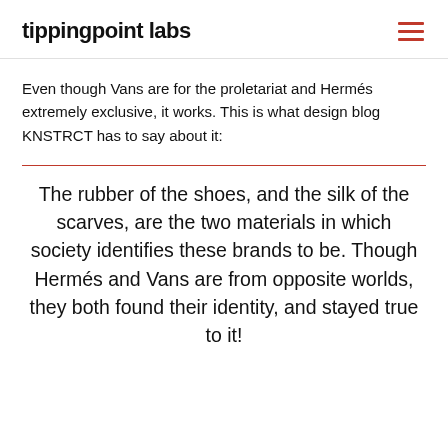tippingpoint labs
Even though Vans are for the proletariat and Hermés extremely exclusive, it works. This is what design blog KNSTRCT has to say about it:
The rubber of the shoes, and the silk of the scarves, are the two materials in which society identifies these brands to be. Though Hermés and Vans are from opposite worlds, they both found their identity, and stayed true to it!